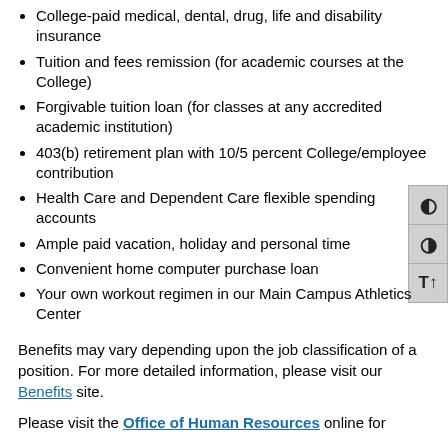College-paid medical, dental, drug, life and disability insurance
Tuition and fees remission (for academic courses at the College)
Forgivable tuition loan (for classes at any accredited academic institution)
403(b) retirement plan with 10/5 percent College/employee contribution
Health Care and Dependent Care flexible spending accounts
Ample paid vacation, holiday and personal time
Convenient home computer purchase loan
Your own workout regimen in our Main Campus Athletics Center
Benefits may vary depending upon the job classification of a position. For more detailed information, please visit our Benefits site.
Please visit the Office of Human Resources online for additional information that you may need as a prospective employee.